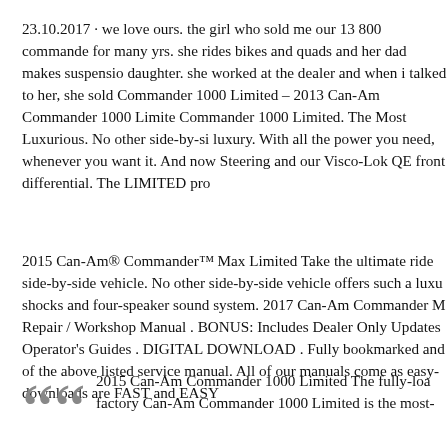23.10.2017 · we love ours. the girl who sold me our 13 800 commande for many yrs. she rides bikes and quads and her dad makes suspensio daughter. she worked at the dealer and when i talked to her, she sold Commander 1000 Limited – 2013 Can-Am Commander 1000 Limite Commander 1000 Limited. The Most Luxurious. No other side-by-si luxury. With all the power you need, whenever you want it. And now Steering and our Visco-Lok QE front differential. The LIMITED pro
2015 Can-Am® Commander™ Max Limited Take the ultimate ride side-by-side vehicle. No other side-by-side vehicle offers such a luxu shocks and four-speaker sound system. 2017 Can-Am Commander M Repair / Workshop Manual . BONUS: Includes Dealer Only Updates Operator's Guides . DIGITAL DOWNLOAD . Fully bookmarked and of the above listed service manual. All of our manuals come as easy- downloads are FAST and EASY
2015 Can-Am Commander 1000 Limited The fully-loa factory Can-Am Commander 1000 Limited is the most-